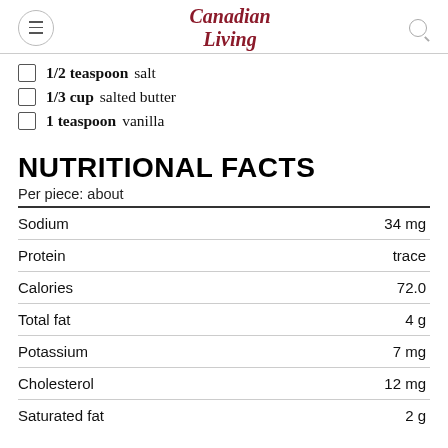Canadian Living
1/2 teaspoon salt
1/3 cup salted butter
1 teaspoon vanilla
NUTRITIONAL FACTS
Per piece: about
|  |  |
| --- | --- |
| Sodium | 34 mg |
| Protein | trace |
| Calories | 72.0 |
| Total fat | 4 g |
| Potassium | 7 mg |
| Cholesterol | 12 mg |
| Saturated fat | 2 g |